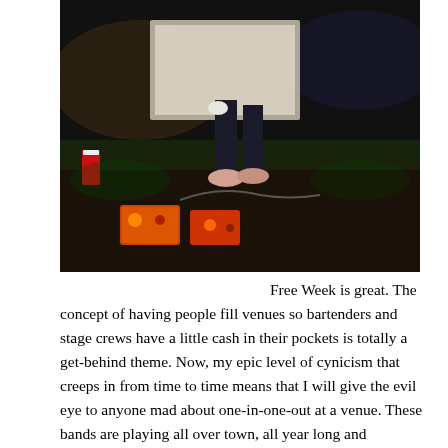[Figure (photo): Concert/stage photo showing a performer's feet and guitar pedals on a stage floor, with colorful stage lighting in the background. Orange and red effects pedals visible in foreground.]
Free Week is great. The concept of having people fill venues so bartenders and stage crews have a little cash in their pockets is totally a get-behind theme. Now, my epic level of cynicism that creeps in from time to time means that I will give the evil eye to anyone mad about one-in-one-out at a venue. These bands are playing all over town, all year long and sometimes opening for a touring band you would think is too expensive to go see. #value Let's go, Austin, spend that twelve bucks.
My Free Week rant is over. Let's get on to some notables and photos. A. Sinclair is a constant fave for